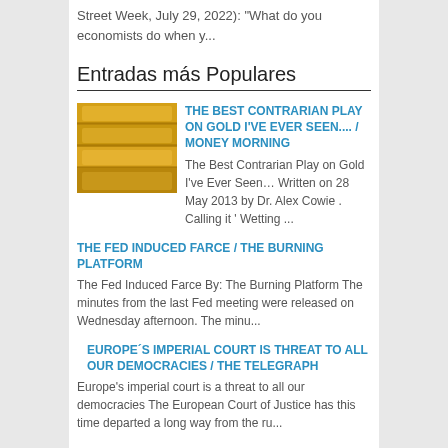Street Week, July 29, 2022): "What do you economists do when y...
Entradas más Populares
[Figure (photo): Stack of gold bars, golden color]
THE BEST CONTRARIAN PLAY ON GOLD I'VE EVER SEEN.... / MONEY MORNING
The Best Contrarian Play on Gold I've Ever Seen… Written on 28 May 2013 by Dr. Alex Cowie . Calling it ' Wetting ...
THE FED INDUCED FARCE / THE BURNING PLATFORM
The Fed Induced Farce By: The Burning Platform The minutes from the last Fed meeting were released on Wednesday afternoon. The minu...
EUROPE'S IMPERIAL COURT IS THREAT TO ALL OUR DEMOCRACIES / THE TELEGRAPH
Europe's imperial court is a threat to all our democracies The European Court of Justice has this time departed a long way from the ru...